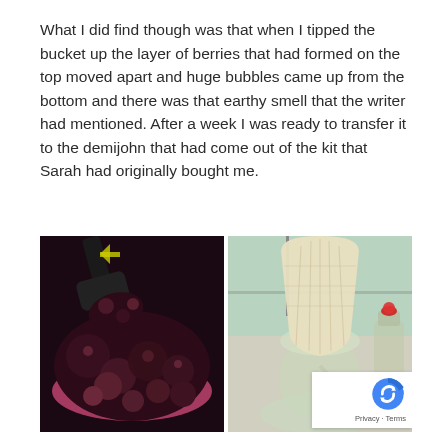What I did find though was that when I tipped the bucket up the layer of berries that had formed on the top moved apart and huge bubbles came up from the bottom and there was that earthy smell that the writer had mentioned. After a week I was ready to transfer it to the demijohn that had come out of the kit that Sarah had originally bought me.
[Figure (photo): Left photo: dark purple/red crushed berries being scooped with a black spatula into a pink bowl. Right photo: a cream-colored fabric straining bag sitting in a glass demijohn funnel/flask setup on a windowsill, with a red-capped bottle in the background.]